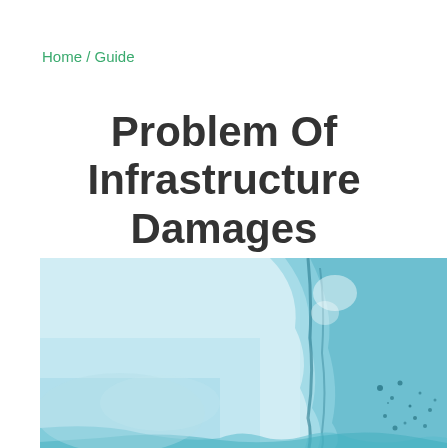Home / Guide
Problem Of Infrastructure Damages
[Figure (photo): Photograph of water damage on a surface — light blue watercolor-like staining with dark teal moisture streaks and splatter marks suggesting infrastructure water leakage or dampness damage.]